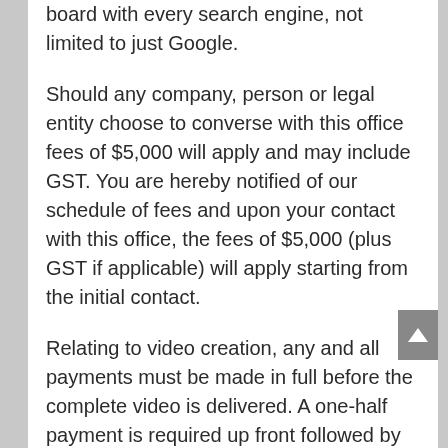board with every search engine, not limited to just Google.
Should any company, person or legal entity choose to converse with this office fees of $5,000 will apply and may include GST. You are hereby notified of our schedule of fees and upon your contact with this office, the fees of $5,000 (plus GST if applicable) will apply starting from the initial contact.
Relating to video creation, any and all payments must be made in full before the complete video is delivered. A one-half payment is required up front followed by the remainder before the video is handed over in either raw HTML code or as a video file.
Should any agreements be broken the client is liable to pay the closing amount for the month in progress on any service or services provided by The Smart Carpet Cleaner.
Please come back and check the terms and conditions on